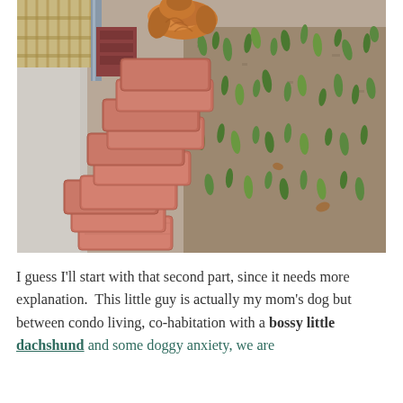[Figure (photo): Outdoor photo showing a golden/reddish-brown dog sniffing at the top of a stacked brick garden border wall. The bricks are terracotta/salmon colored, stacked in a staircase pattern along a garden bed with small green plant shoots emerging from brown soil. A concrete path is visible on the left side. A bamboo fence is visible in the upper left background.]
I guess I'll start with that second part, since it needs more explanation. This little guy is actually my mom's dog but between condo living, co-habitation with a bossy little dachshund and some doggy anxiety, we are...